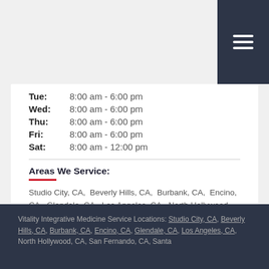Tue: 8:00 am - 6:00 pm
Wed: 8:00 am - 6:00 pm
Thu: 8:00 am - 6:00 pm
Fri: 8:00 am - 6:00 pm
Sat: 8:00 am - 12:00 pm
Areas We Service:
Studio City, CA,  Beverly Hills, CA,  Burbank, CA,  Encino, CA,  Glendale, CA,  Los Angeles, CA,  North Hollywood, CA,  San Fernando, CA,  Santa Monica, CA,  Tarzana, CA,  Toluca Lake, CA,  Valley Village, CA,  Van Nuys, CA,  West Hollywood, CA
Vitality Integrative Medicine Service Locations: Studio City, CA, Beverly Hills, CA, Burbank, CA, Encino, CA, Glendale, CA, Los Angeles, CA, North Hollywood, CA, San Fernando, CA, Santa Monica, CA, ...